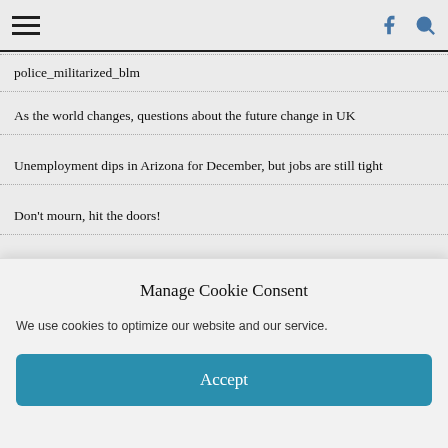Navigation bar with hamburger menu, Facebook icon, and search icon
police_militarized_blm
As the world changes, questions about the future change in UK
Unemployment dips in Arizona for December, but jobs are still tight
Don't mourn, hit the doors!
METEOR WEATHER
[Figure (screenshot): Meteor Weather widget screenshot showing weather app interface with sun icon and location pin]
Manage Cookie Consent
We use cookies to optimize our website and our service.
Accept